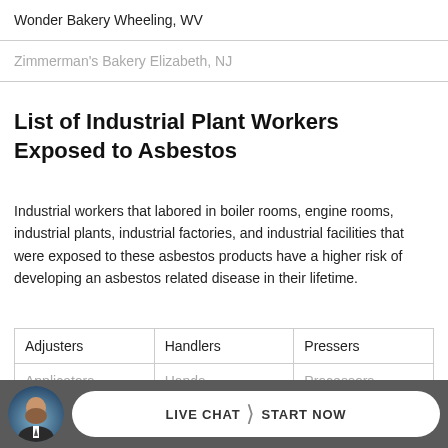| Wonder Bakery Wheeling, WV |
| Zimmerman's Bakery Elizabeth, NJ |
List of Industrial Plant Workers Exposed to Asbestos
Industrial workers that labored in boiler rooms, engine rooms, industrial plants, industrial factories, and industrial facilities that were exposed to these asbestos products have a higher risk of developing an asbestos related disease in their lifetime.
| Adjusters | Handlers | Pressers |
| Applicators | Hands | Processors |
| Assemblers | Helpers | Programmers |
[Figure (other): Live chat footer bar with avatar photo of a man in a suit, and a button reading LIVE CHAT > START NOW]